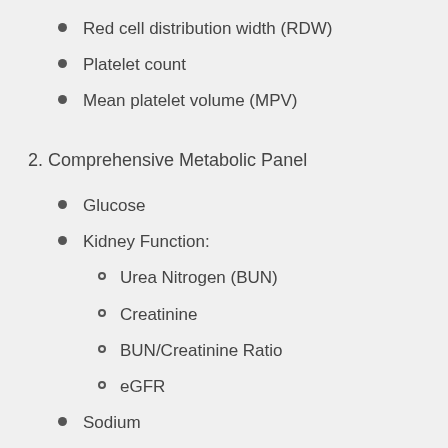Red cell distribution width (RDW)
Platelet count
Mean platelet volume (MPV)
2. Comprehensive Metabolic Panel
Glucose
Kidney Function:
Urea Nitrogen (BUN)
Creatinine
BUN/Creatinine Ratio
eGFR
Sodium
Potassium